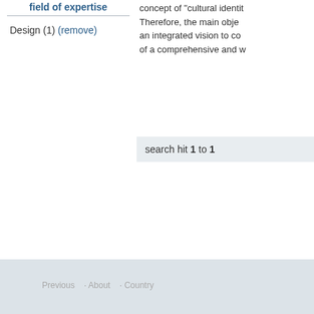field of expertise
Design (1) (remove)
concept of "cultural identit... Therefore, the main obje... an integrated vision to co... of a comprehensive and w...
search hit 1 to 1
Previous · About · Country